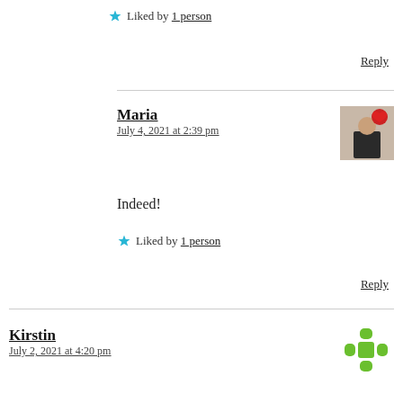★ Liked by 1 person
Reply
Maria
July 4, 2021 at 2:39 pm
[Figure (photo): Avatar photo of Maria, a person wearing dark clothing with a red heart balloon in the background]
Indeed!
★ Liked by 1 person
Reply
Kirstin
July 2, 2021 at 4:20 pm
[Figure (logo): Green grid/flower avatar icon for Kirstin]